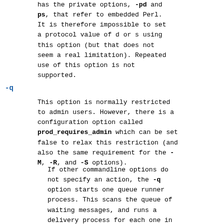has the private options, -pd and -ps, that refer to embedded Perl. It is therefore impossible to set a protocol value of d or s using this option (but that does not seem a real limitation). Repeated use of this option is not supported.
-q
This option is normally restricted to admin users. However, there is a configuration option called prod_requires_admin which can be set false to relax this restriction (and also the same requirement for the -M, -R, and -S options).
If other commandline options do not specify an action, the -q option starts one queue runner process. This scans the queue of waiting messages, and runs a delivery process for each one in